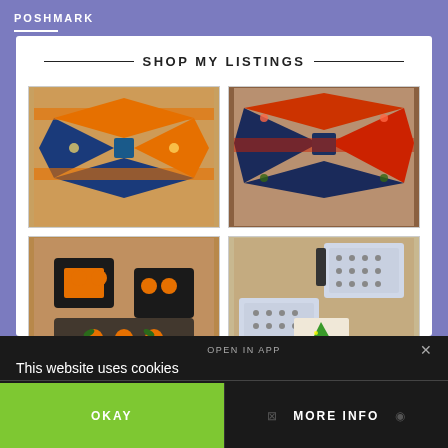POSHMARK
SHOP MY LISTINGS
[Figure (photo): Halloween-themed fabric bow ties with orange and blue pattern on wooden surface]
[Figure (photo): Christmas-themed fabric bow ties with dark background and colorful festive pattern on wooden surface]
[Figure (photo): Halloween pumpkin-themed fabric items (masks/bow ties) with orange pumpkin pattern on dark background]
[Figure (photo): Earring/jewelry accessories - small stud earrings in packaging with a Christmas tree card]
This website uses cookies
OPEN IN APP
OKAY
MORE INFO